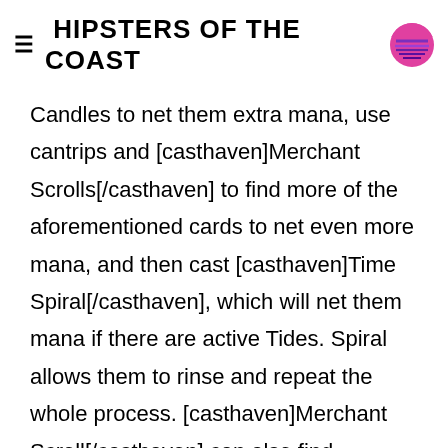HIPSTERS OF THE COAST
Candles to net them extra mana, use cantrips and [casthaven]Merchant Scrolls[/casthaven] to find more of the aforementioned cards to net even more mana, and then cast [casthaven]Time Spiral[/casthaven], which will net them mana if there are active Tides. Spiral allows them to rinse and repeat the whole process. [casthaven]Merchant Scroll[/casthaven] can also find [casthaven]Cunning Wish[/casthaven],